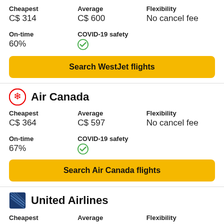Cheapest: C$ 314, Average: C$ 600, Flexibility: No cancel fee
On-time: 60%, COVID-19 safety: checked
Search WestJet flights
Air Canada
Cheapest: C$ 364, Average: C$ 597, Flexibility: No cancel fee
On-time: 67%, COVID-19 safety: checked
Search Air Canada flights
United Airlines
Cheapest, Average, Flexibility